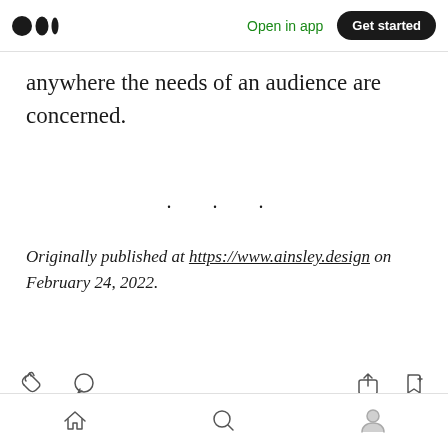Medium logo | Open in app | Get started
anywhere the needs of an audience are concerned.
· · ·
Originally published at https://www.ainsley.design on February 24, 2022.
[Figure (screenshot): Action bar with clap, comment, share, and bookmark icons; popup bar with clap and comment icons; bottom navigation with home, search, and profile icons]